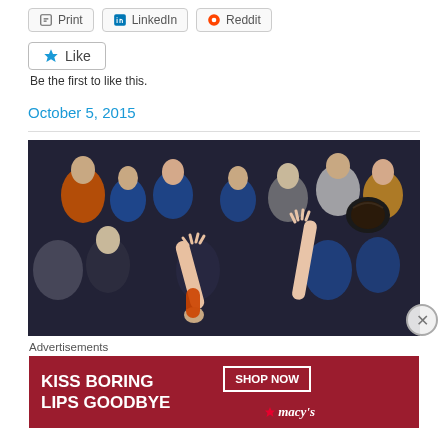[Figure (other): Share buttons row: Print, LinkedIn, Reddit]
[Figure (other): Like button widget with star icon]
Be the first to like this.
October 5, 2015
[Figure (photo): Sports crowd photo at a baseball game, with arms raised and a player catching a ball with a glove visible at upper right]
Advertisements
[Figure (other): Macy's advertisement banner: KISS BORING LIPS GOODBYE — SHOP NOW — macy's star logo, red background with woman's face]